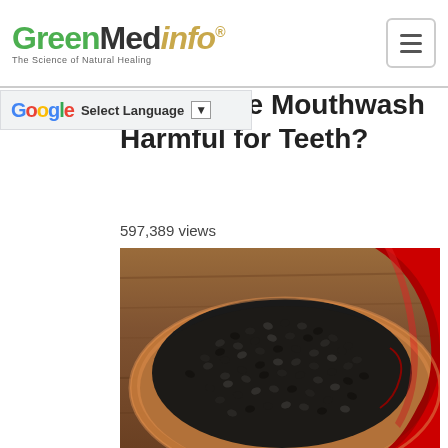GreenMedInfo - The Science of Natural Healing
n Peroxide Mouthwash Harmful for Teeth?
597,389 views
[Figure (photo): Black seeds (nigella sativa / black cumin) piled in a round wooden bowl, with a red ribbon visible to the right, on a wooden surface background.]